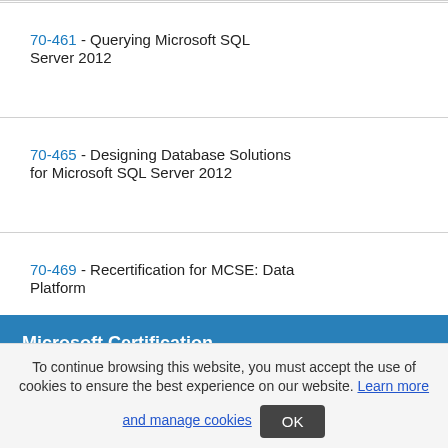70-461 - Querying Microsoft SQL Server 2012
70-465 - Designing Database Solutions for Microsoft SQL Server 2012
70-469 - Recertification for MCSE: Data Platform
Microsoft Certification
To continue browsing this website, you must accept the use of cookies to ensure the best experience on our website. Learn more and manage cookies OK